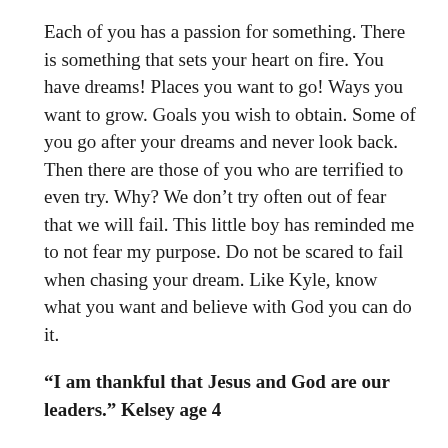Each of you has a passion for something. There is something that sets your heart on fire. You have dreams! Places you want to go! Ways you want to grow. Goals you wish to obtain. Some of you go after your dreams and never look back. Then there are those of you who are terrified to even try. Why? We don’t try often out of fear that we will fail. This little boy has reminded me to not fear my purpose. Do not be scared to fail when chasing your dream. Like Kyle, know what you want and believe with God you can do it.
“I am thankful that Jesus and God are our leaders.” Kelsey age 4